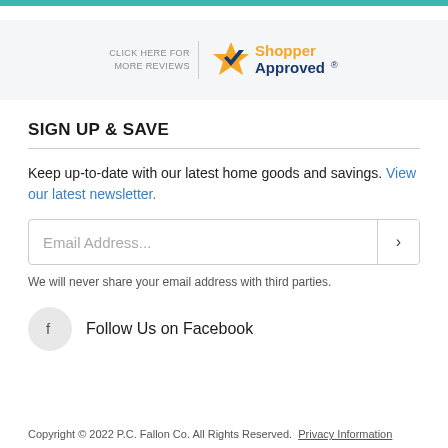[Figure (logo): Shopper Approved logo with 'CLICK HERE FOR MORE REVIEWS' text and a star icon badge]
SIGN UP & SAVE
Keep up-to-date with our latest home goods and savings. View our latest newsletter.
Email Address...
We will never share your email address with third parties.
Follow Us on Facebook
Copyright © 2022 P.C. Fallon Co. All Rights Reserved.  Privacy Information